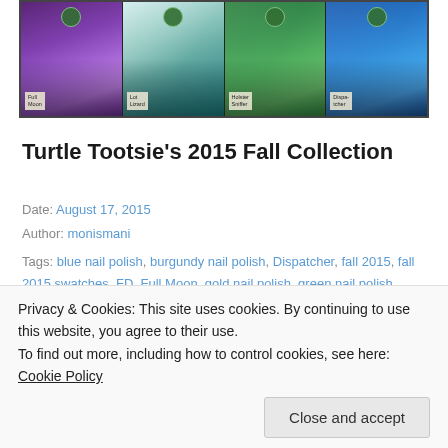[Figure (photo): Four panels of nail polish swatches showing shimmer/holo nail polish in purple, teal/silver, green, and blue colors with polish bottle labels visible at the bottom of each panel]
Turtle Tootsie's 2015 Fall Collection
Date: August 17, 2015
Author: monismani
Tags: blue nail polish, burgundy nail polish, Dispatcher, fall 2015, fall 2015 swatches, FD, Full Moon, gold nail polish, green nail polish, Holster Sniffer, indie nail polish, Lot Lizard, nail polish, red nail polish, scattered holo nail polish, turtle tootsie, turtle tootsie swatches, Working
Privacy & Cookies: This site uses cookies. By continuing to use this website, you agree to their use.
To find out more, including how to control cookies, see here: Cookie Policy
Close and accept